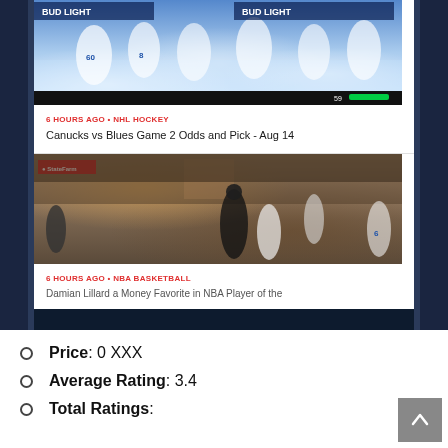[Figure (screenshot): Mobile app screenshot showing two sports news article cards. Top card: hockey players image with 'BUD LIGHT' banner, article meta '6 HOURS AGO • NHL HOCKEY', title 'Canucks vs Blues Game 2 Odds and Pick - Aug 14'. Bottom card: basketball game image with StateFarm banner, article meta '6 HOURS AGO • NBA BASKETBALL', partial title 'Damian Lillard a Money Favorite in NBA Player of the...']
Price: 0 XXX
Average Rating: 3.4
Total Ratings: 5...